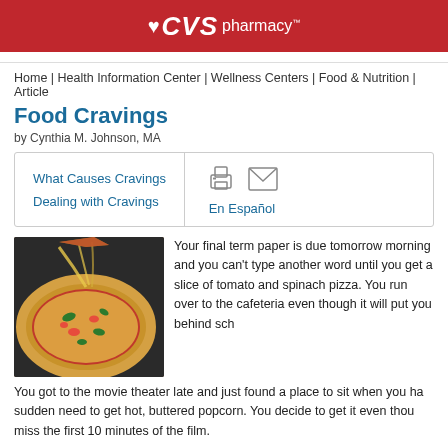CVS pharmacy
Home | Health Information Center | Wellness Centers | Food & Nutrition | Article
Food Cravings
by Cynthia M. Johnson, MA
What Causes Cravings
Dealing with Cravings
En Español
[Figure (photo): A pizza with tomato sauce, melted cheese, and toppings, with a slice being lifted]
Your final term paper is due tomorrow morning and you can't type another word until you get a slice of tomato and spinach pizza. You run over to the cafeteria even though it will put you behind sch
You got to the movie theater late and just found a place to sit when you had a sudden need to get hot, buttered popcorn. You decide to get it even though you'll miss the first 10 minutes of the film.